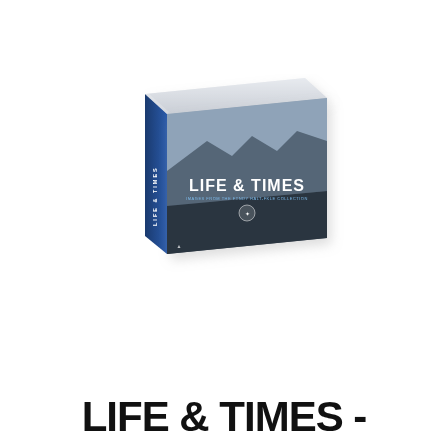[Figure (photo): A perspective view of a hardcover book titled 'LIFE & TIMES' with a blue spine and a black-and-white photo cover showing mountains and figures. The book is displayed at an angle showing both the front cover and spine against a light gray/white background.]
LIFE & TIMES -